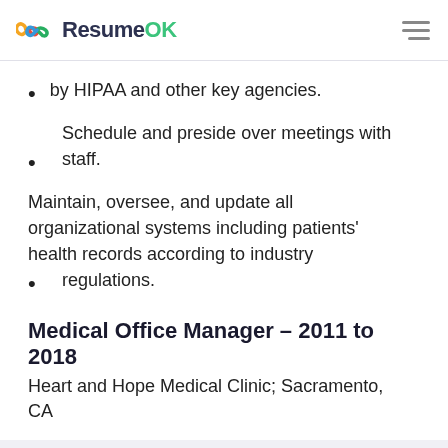ResumeOK
by HIPAA and other key agencies.
Schedule and preside over meetings with staff.
Maintain, oversee, and update all organizational systems including patients' health records according to industry regulations.
Medical Office Manager – 2011 to 2018
Heart and Hope Medical Clinic; Sacramento, CA